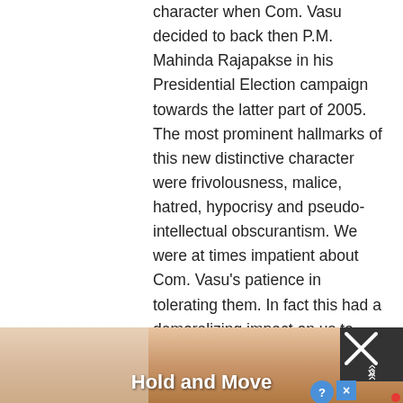character when Com. Vasu decided to back then P.M. Mahinda Rajapakse in his Presidential Election campaign towards the latter part of 2005. The most prominent hallmarks of this new distinctive character were frivolousness, malice, hatred, hypocrisy and pseudo-intellectual obscurantism. We were at times impatient about Com. Vasu's patience in tolerating them. In fact this had a demoralizing impact on us to such an extent that we found ourselves embarrassed in the face of criticisms of our political friends regarding Com. Vasu and his politics and our association with it.

But recently we found ourselves to be wrong.
[Figure (screenshot): Advertisement banner at the bottom of the page showing a mobile game called 'Hold and Move' with cartoon figures and a close button overlay]